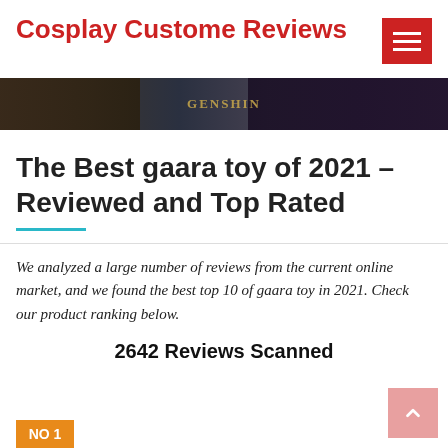Cosplay Custome Reviews
[Figure (screenshot): Banner image with dark gaming/anime artwork, showing text GENSHIN in the center]
The Best gaara toy of 2021 – Reviewed and Top Rated
We analyzed a large number of reviews from the current online market, and we found the best top 10 of gaara toy in 2021. Check our product ranking below.
2642 Reviews Scanned